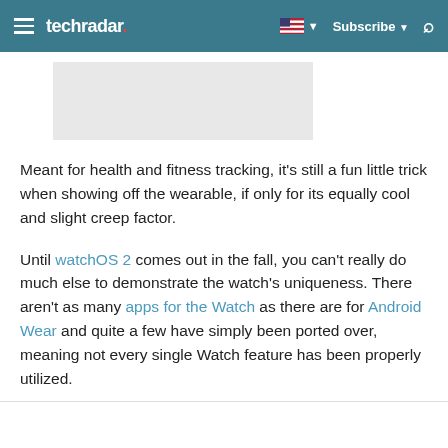techradar — Subscribe
[Figure (other): Gray advertisement placeholder rectangle]
Meant for health and fitness tracking, it's still a fun little trick when showing off the wearable, if only for its equally cool and slight creep factor.
Until watchOS 2 comes out in the fall, you can't really do much else to demonstrate the watch's uniqueness. There aren't as many apps for the Watch as there are for Android Wear and quite a few have simply been ported over, meaning not every single Watch feature has been properly utilized.